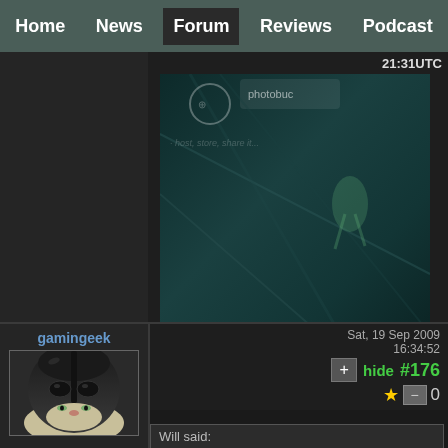Home | News | Forum | Reviews | Podcast
21:31UTC
[Figure (photo): Photobucket hosted image with teal/dark background, appears to show a figure in a sci-fi or action scene]
http://i9.photobuc
http://i9.photobuc
gamingeek
[Figure (photo): Cat wearing Darth Vader helmet costume, portrait style]
Sat, 19 Sep 2009 16:34:52
hide #176
0
Will said: